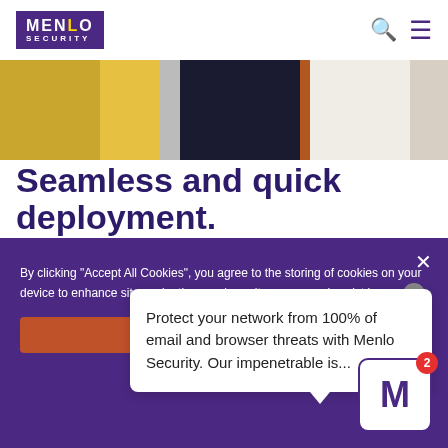[Figure (logo): Menlo Security logo — purple background with white text 'MENLO SECURITY']
[Figure (photo): Cropped hero photo showing people in an office/casual setting with yellow, dark, and light tones]
Seamless and quick deployment.
With technology that's easily deployed and working
By clicking "Accept All Cookies", you agree to the storing of cookies on your device to enhance site navigation, analyze site usage, and assist in our [cookie icon]
Protect your network from 100% of email and browser threats with Menlo Security. Our impenetrable is...
[Figure (logo): Menlo Security chat widget badge — white box with purple M and red notification badge showing 2]